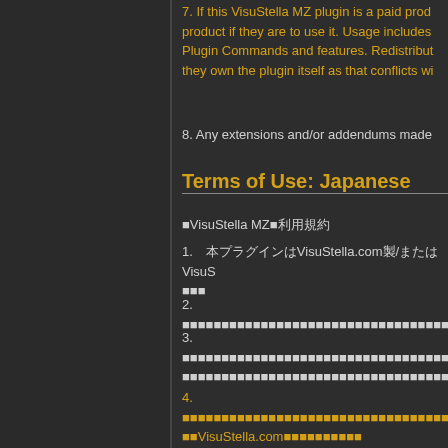7. If this VisuStella MZ plugin is a paid product, only players who own it should be able to use it. Usage includes using the plugin and/or its Plugin Commands and features. Redistribution is not allowed stating that they own the plugin itself as that conflicts wi...
8. Any extensions and/or addendums made...
Terms of Use: Japanese
■VisuStella MZ■利用規約
1. 本プラグインはVisuStella.com製/またはVisuStellaチームによって制作された物です。
2. ■■■■■■■■■■■■■■■■■■■■■■■■■■■■■■■■■■■■■■■■■■■■■■■■■■■■■■
3. ■■■■■■■■■■■■■■■■■■■■■■■■■■■■■■■■■■■■■■■■■■■■■■■■VisStella■■■■■■■■■■■■■■■■■■■■■■■■■■■■■■■■■■■■■■■■■■■■■■■■■■Vis■
4. ■■■■■■■■■■■■■■■■■■■■■■■■■■■■■■■■■■■■■■■■■■■■■■■■■■■■■■■■■■■■VisuStella.com■■■■■■■■■■■
5. VisuStella■■■■■■■■■■■■■■■VisuStella MZ■■■■■VisuStella■■■■JavaScriptを■■■■JavaScript■
6. VisuStella MZ■■■■■■■■■■■■■■■■VisuStella■■